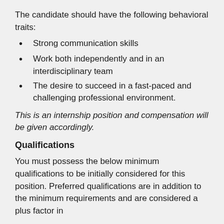The candidate should have the following behavioral traits:
Strong communication skills
Work both independently and in an interdisciplinary team
The desire to succeed in a fast-paced and challenging professional environment.
This is an internship position and compensation will be given accordingly.
Qualifications
You must possess the below minimum qualifications to be initially considered for this position. Preferred qualifications are in addition to the minimum requirements and are considered a plus factor in